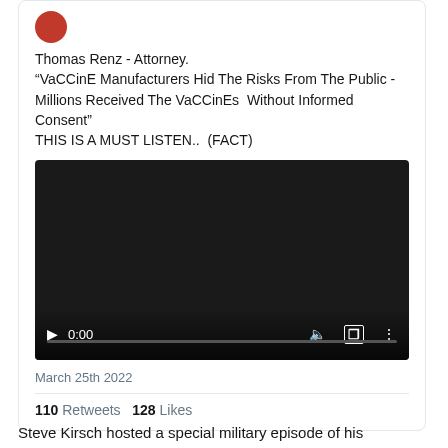Thomas Renz - Attorney.
“VaCCinE Manufacturers Hid The Risks From The Public - Millions Received The VaCCinEs  Without Informed Consent”
THIS IS A MUST LISTEN..  (FACT)
[Figure (screenshot): Embedded video player showing 0:00 timestamp with play button, volume, fullscreen, and more options controls on a dark background.]
March 25th 2022
110 Retweets  128 Likes
Steve Kirsch hosted a special military episode of his